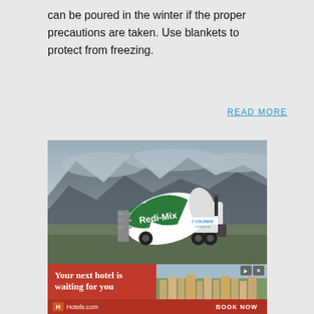can be poured in the winter if the proper precautions are taken. Use blankets to protect from freezing.
READ MORE
[Figure (photo): A green and white cement mixer truck (Redi-Mix, Coleman Concrete) parked in front of a mountainous cloudy landscape.]
[Figure (photo): Advertisement: Your next hotel is waiting for you. Hotels.com. BOOK NOW.]